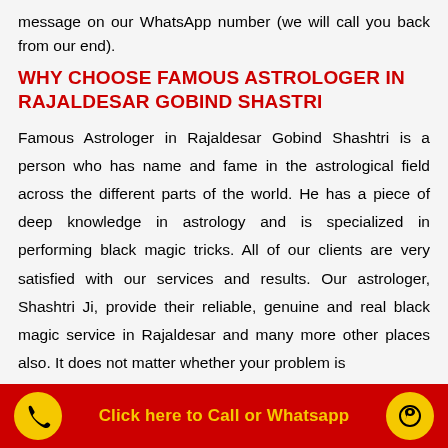message on our WhatsApp number (we will call you back from our end).
WHY CHOOSE FAMOUS ASTROLOGER IN RAJALDESAR GOBIND SHASTRI
Famous Astrologer in Rajaldesar Gobind Shashtri is a person who has name and fame in the astrological field across the different parts of the world. He has a piece of deep knowledge in astrology and is specialized in performing black magic tricks. All of our clients are very satisfied with our services and results. Our astrologer, Shashtri Ji, provide their reliable, genuine and real black magic service in Rajaldesar and many more other places also. It does not matter whether your problem is
Click here to Call or Whatsapp